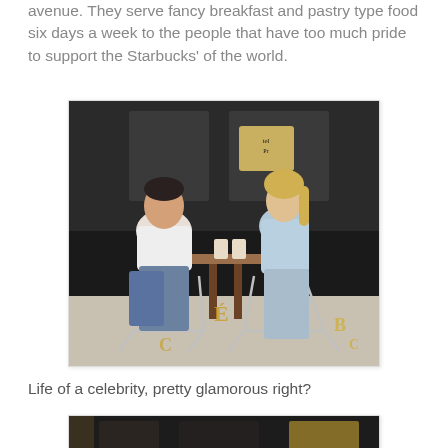avenue. They serve fancy breakfast and pastry type food six days a week to the people that have too much pride to support the Starbucks' of the world.
[Figure (photo): Two people, a man in a white t-shirt and jeans and a woman in a light blue top and jeans, sitting at an outdoor café table with drinks, in front of a café window.]
Life of a celebrity, pretty glamorous right?
[Figure (photo): Partial view of a second photo, showing what appears to be a café interior with dark tones.]